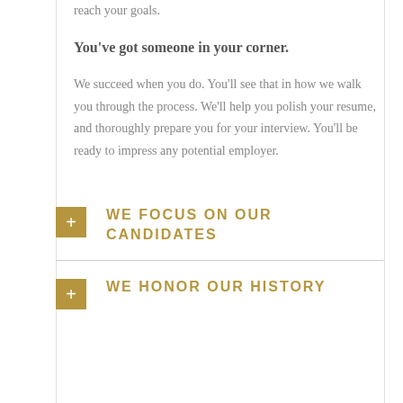recruiters at Hans Alliance can help you reach your goals.
You've got someone in your corner.
We succeed when you do. You'll see that in how we walk you through the process. We'll help you polish your resume, and thoroughly prepare you for your interview. You'll be ready to impress any potential employer.
WE FOCUS ON OUR CANDIDATES
WE HONOR OUR HISTORY